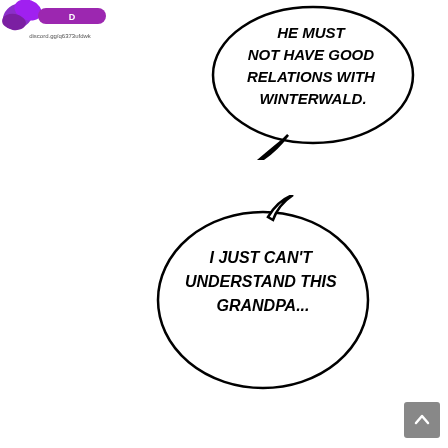[Figure (logo): Purple stylized logo with Discord link discord.gg/q6373ufdwk]
HE MUST NOT HAVE GOOD RELATIONS WITH WINTERWALD.
I JUST CAN'T UNDERSTAND THIS GRANDPA...